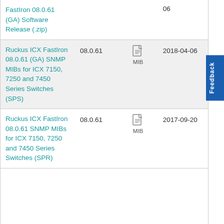| Name | Version | Type | Date |
| --- | --- | --- | --- |
| FastIron 08.0.61 (GA) Software Release (.zip) |  |  | 06 |
| Ruckus ICX FastIron 08.0.61 (GA) SNMP MIBs for ICX 7150, 7250 and 7450 Series Switches (SPS) | 08.0.61 | MIB | 2018-04-06 |
| Ruckus ICX FastIron 08.0.61 SNMP MIBs for ICX 7150, 7250 and 7450 Series Switches (SPR) | 08.0.61 | MIB | 2017-09-20 |